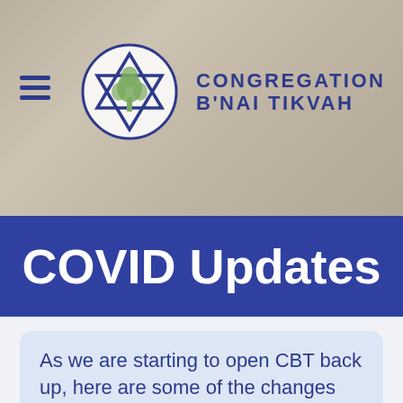[Figure (logo): Congregation B'nai Tikvah logo: Star of David with a tree inside, circular border, in blue and green, with text 'Congregation B'nai Tikvah' to the right]
Congregation B'nai Tikvah
COVID Updates
As we are starting to open CBT back up, here are some of the changes we have made to our guidelines: